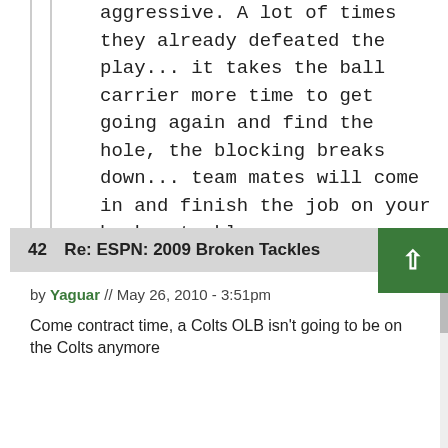aggressive. A lot of times they already defeated the play... it takes the ball carrier more time to get going again and find the hole, the blocking breaks down... team mates will come in and finish the job on your broken tackle.
42  Re: ESPN: 2009 Broken Tackles
by Yaguar // May 26, 2010 - 3:51pm
Come contract time, a Colts OLB isn't going to be on the Colts anymore